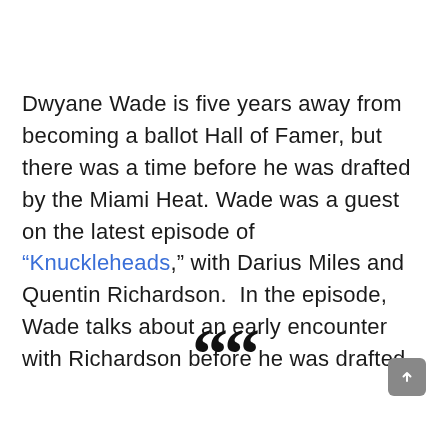Dwyane Wade is five years away from becoming a ballot Hall of Famer, but there was a time before he was drafted by the Miami Heat. Wade was a guest on the latest episode of “Knuckleheads,” with Darius Miles and Quentin Richardson.  In the episode, Wade talks about an early encounter with Richardson before he was drafted.